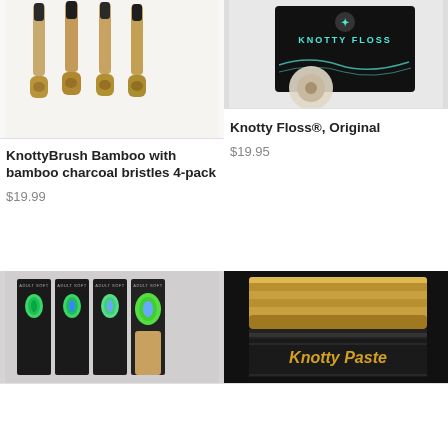[Figure (photo): Four bamboo toothbrushes with dark charcoal bristles standing upright in round bamboo holders, white background]
KnottyBrush Bamboo with bamboo charcoal bristles 4-pack
$19.99
[Figure (photo): Knotty Floss product packaging, black box with white text and logo on dark background]
Knotty Floss®, Original
$19.95
[Figure (photo): Four toothbrushes in black packaging boxes labeled ADULT SOFT, with colorful bristles visible]
[Figure (photo): Knotty Paste product jar with bamboo lid, dark background, label partially visible]